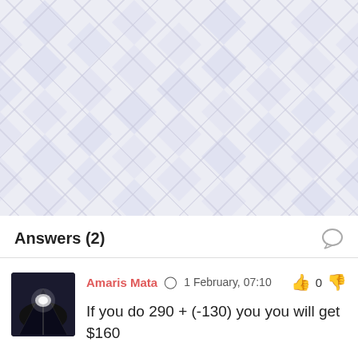[Figure (illustration): Diamond pattern background in light lavender/grey color]
Answers (2)
Amaris Mata   1 February, 07:10   0
If you do 290 + (-130) you you will get $160